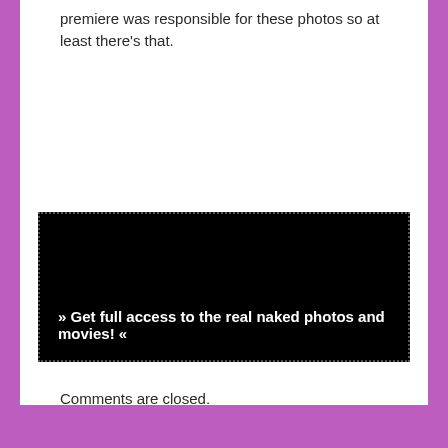premiere was responsible for these photos so at least there's that.
[Figure (other): Black banner advertisement with dotted border containing text: » Get full access to the real naked photos and movies! «]
Comments are closed.